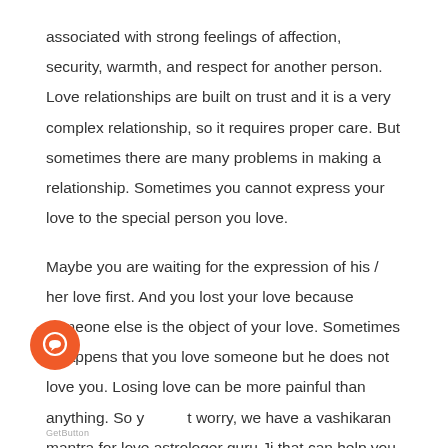associated with strong feelings of affection, security, warmth, and respect for another person. Love relationships are built on trust and it is a very complex relationship, so it requires proper care. But sometimes there are many problems in making a relationship. Sometimes you cannot express your love to the special person you love.

Maybe you are waiting for the expression of his / her love first. And you lost your love because someone else is the object of your love. Sometimes it happens that you love someone but he does not love you. Losing love can be more painful than anything. So you t worry, we have a vashikaran mantra for love astrologer guru Ji that can help you find your love using vashikaran for
[Figure (other): Orange circular chat/message button icon overlaid on the text]